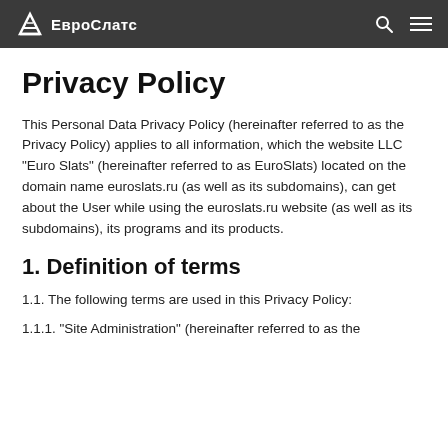ЕвроСлатс
Privacy Policy
This Personal Data Privacy Policy (hereinafter referred to as the Privacy Policy) applies to all information, which the website LLC "Euro Slats" (hereinafter referred to as EuroSlats) located on the domain name euroslats.ru (as well as its subdomains), can get about the User while using the euroslats.ru website (as well as its subdomains), its programs and its products.
1. Definition of terms
1.1. The following terms are used in this Privacy Policy:
1.1.1. "Site Administration" (hereinafter referred to as the